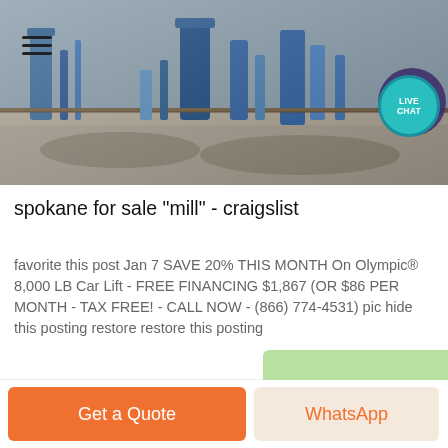[Figure (photo): Aerial view of industrial milling/processing equipment with blue pipes and machinery on a construction site, with a LIVE CHAT circular button overlay in the top right area.]
spokane for sale "mill" - craigslist
favorite this post Jan 7 SAVE 20% THIS MONTH On Olympic® 8,000 LB Car Lift - FREE FINANCING $1,867 (OR $86 PER MONTH - TAX FREE! - CALL NOW - (866) 774-4531) pic hide this posting restore restore this posting